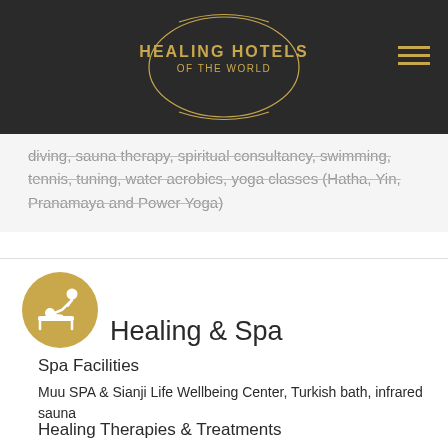HEALING HOTELS OF THE WORLD
diving, sauna therapy, spiritual consultancy, swimming, tennis, tuning, water aerobics, yoga classes (Hatha, Yin, Pranamaya and Power Yoga)
[Figure (illustration): Gold circular icon with a massage/spa therapy symbol showing a person receiving a massage treatment]
Healing & Spa
Spa Facilities
Muu SPA & Sianji Life Wellbeing Center, Turkish bath, infrared sauna
Healing Therapies & Treatments
Sianji's team of doctors, detox specialists, dieticians, nurses, sports activity specialists, a psychologist